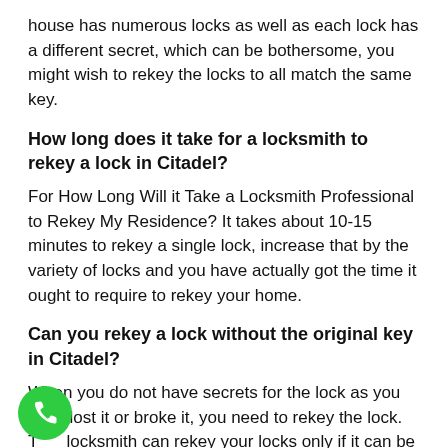house has numerous locks as well as each lock has a different secret, which can be bothersome, you might wish to rekey the locks to all match the same key.
How long does it take for a locksmith to rekey a lock in Citadel?
For How Long Will it Take a Locksmith Professional to Rekey My Residence? It takes about 10-15 minutes to rekey a single lock, increase that by the variety of locks and you have actually got the time it ought to require to rekey your home.
Can you rekey a lock without the original key in Citadel?
When you do not have secrets for the lock as you have lost it or broke it, you need to rekey the lock. The locksmith can rekey your locks only if it can be done without the existing trick. But the price of